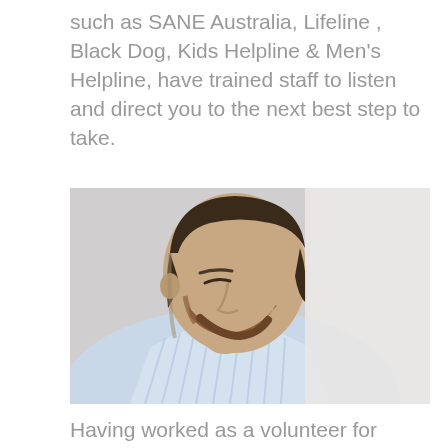such as SANE Australia, Lifeline , Black Dog, Kids Helpline & Men's Helpline, have trained staff to listen and direct you to the next best step to take.
[Figure (photo): A young man with short dark hair and a beard, wearing a light blue striped shirt, leaning his head down against a white wall, appearing distressed or tired.]
Having worked as a volunteer for Caring and Lifeline many years ago, I know firsthand, the